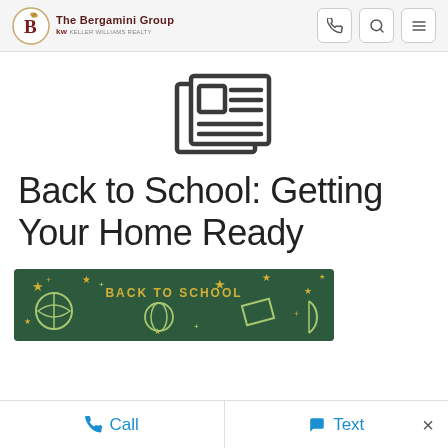The Bergamini Group kw
[Figure (logo): The Bergamini Group logo with a circular emblem and kw Keller Williams branding]
[Figure (illustration): Newspaper/article icon in dark gray, representing a blog or news post]
Back to School: Getting Your Home Ready
[Figure (photo): Back to School themed banner image with dark green chalkboard background, stars, and chalk-drawn school-related icons with text 'BACK TO SCHOOL' in gold]
Call   Text